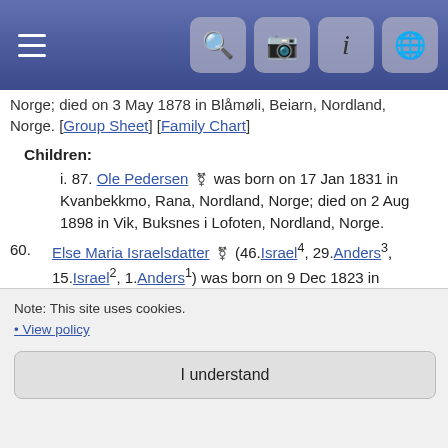Navigation bar with hamburger menu and icons
Norge; died on 3 May 1878 in Blåmøli, Beiarn, Nordland, Norge. [Group Sheet] [Family Chart]
Children:
i. 87. Ole Pedersen was born on 17 Jan 1831 in Kvanbekkmo, Rana, Nordland, Norge; died on 2 Aug 1898 in Vik, Buksnes i Lofoten, Nordland, Norge.
60. Else Maria Israelsdatter (46.Israel4, 29.Anders3, 15.Israel2, 1.Anders1) was born on 9 Dec 1823 in Strømfors i Hemnes.; died about 1823.
61. Andrine Israelsdatter (46.Israel4, 29.Anders3, 15.Israel2, 1.Anders1) was born on 9 Dec 1823 in Strømfors i Hemnes.; died about 1823.
62. Else Maria Israelsdatter (46.Israel4, 29.Anders3, 15.Israel2, 1.Anders1) was born on 18 Apr 1825 in Strømfors i Hemnes.; died on 3 Jan 1897.
Note: This site uses cookies. • View policy
I understand